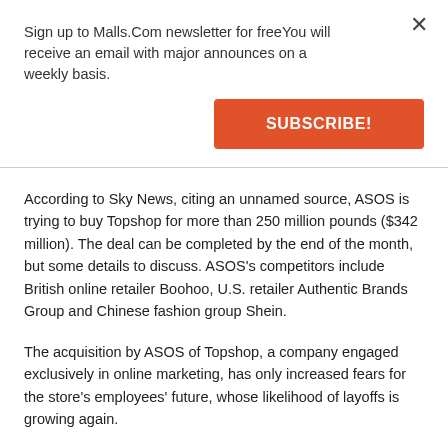Sign up to Malls.Com newsletter for freeYou will receive an email with major announces on a weekly basis.
SUBSCRIBE!
According to Sky News, citing an unnamed source, ASOS is trying to buy Topshop for more than 250 million pounds ($342 million). The deal can be completed by the end of the month, but some details to discuss. ASOS's competitors include British online retailer Boohoo, U.S. retailer Authentic Brands Group and Chinese fashion group Shein.
The acquisition by ASOS of Topshop, a company engaged exclusively in online marketing, has only increased fears for the store's employees' future, whose likelihood of layoffs is growing again.
Photo credit: depositphotos.com.
25 JANUARY 2021, United Kingdom
More about shopping malls in the United Kingdom